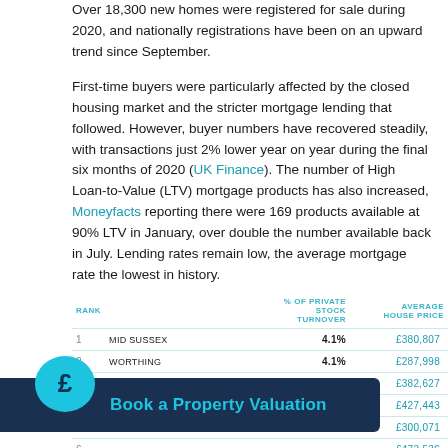Over 18,300 new homes were registered for sale during 2020, and nationally registrations have been on an upward trend since September.
First-time buyers were particularly affected by the closed housing market and the stricter mortgage lending that followed. However, buyer numbers have recovered steadily, with transactions just 2% lower year on year during the final six months of 2020 (UK Finance). The number of High Loan-to-Value (LTV) mortgage products has also increased, Moneyfacts reporting there were 169 products available at 90% LTV in January, over double the number available back in July. Lending rates remain low, the average mortgage rate the lowest in history.
| RANK | AREA | % OF PRIVATE STOCK TURNOVER | AVERAGE HOUSE PRICE |
| --- | --- | --- | --- |
| 1 | MID SUSSEX | 4.1% | £380,807 |
| 2 | WORTHING | 4.1% | £287,998 |
| 3 | HORSHAM | 4.0% | £382,627 |
| 4 | REIGATE AND BANSTEAD | 3.9% | £427,443 |
| 5 |  |  | £300,071 |
| 6 |  |  | £473,536 |
| 7 | SURREY HEATH | 3.8% | £407,441 |
| 8 |  | 7.6% | £415,763 |
[Figure (infographic): Book a Property Valuation banner with teal pound sign speech bubble icon on dark navy background]